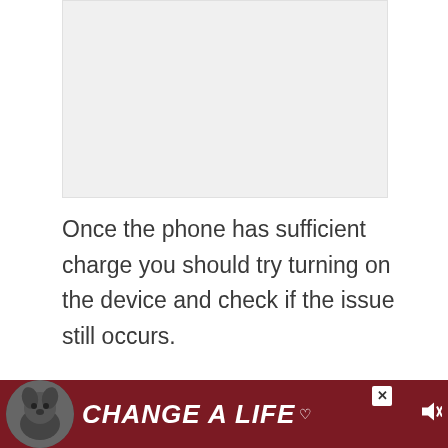[Figure (photo): A placeholder/content image at the top of the page, light gray background]
Once the phone has sufficient charge you should try turning on the device and check if the issue still occurs.
Perform a soft reset
The next thing you will need to do in this case is to refresh the phone software
[Figure (photo): Advertisement banner: dark red background with a dog image and text 'CHANGE A LIFE' with a heart icon and close/mute buttons]